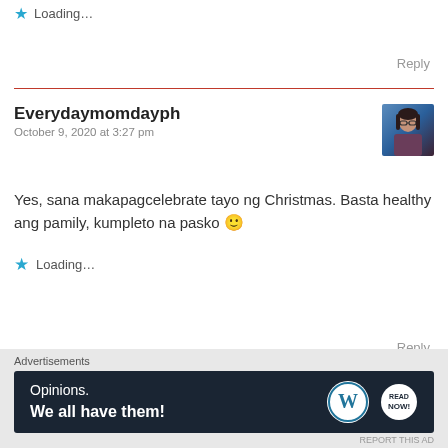Loading...
Reply
Everydaymomdayph
October 9, 2020 at 3:27 pm
[Figure (photo): Avatar photo of user Everydaymomdayph showing a woman with glasses and long dark hair]
Yes, sana makapagcelebrate tayo ng Christmas. Basta healthy ang pamily, kumpleto na pasko 🙂
Loading...
Reply
[Figure (infographic): Advertisement banner: Opinions. We all have them! with WordPress logo and another circular logo on dark navy background]